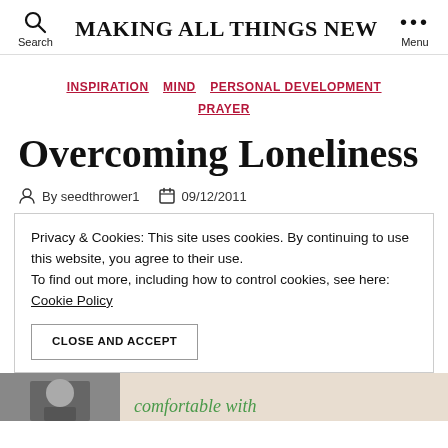MAKING ALL THINGS NEW
INSPIRATION  MIND  PERSONAL DEVELOPMENT  PRAYER
Overcoming Loneliness
By seedthrower1  09/12/2011
Privacy & Cookies: This site uses cookies. By continuing to use this website, you agree to their use. To find out more, including how to control cookies, see here: Cookie Policy
CLOSE AND ACCEPT
comfortable with